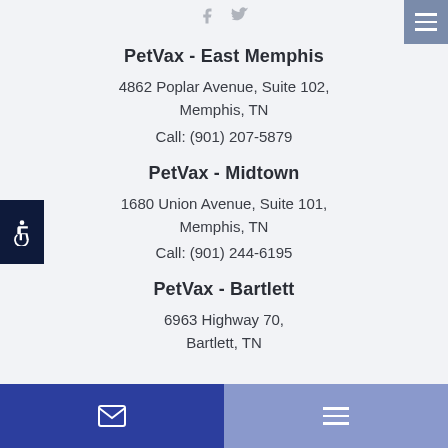Social icons (Facebook, Twitter) and hamburger menu button
PetVax - East Memphis
4862 Poplar Avenue, Suite 102, Memphis, TN
Call: (901) 207-5879
PetVax - Midtown
1680 Union Avenue, Suite 101, Memphis, TN
Call: (901) 244-6195
PetVax - Bartlett
6963 Highway 70, Bartlett, TN
Bottom navigation bar with mail icon and hamburger menu